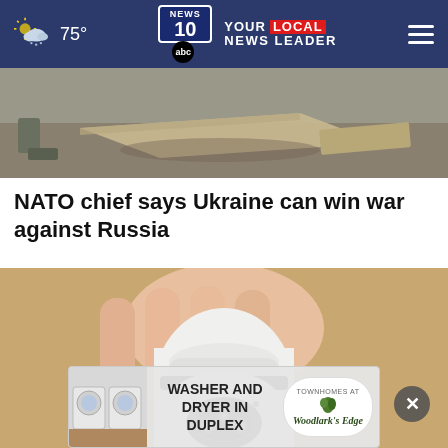75° | NEWS 10 ABC YOUR LOCAL NEWS LEADER
[Figure (photo): News image showing debris/wreckage on the ground, outdoor scene]
NATO chief says Ukraine can win war against Russia
[Figure (photo): A hand holding a white security camera device]
[Figure (other): Advertisement banner: Washer and dryer in duplex - Townhomes at Woodlark's Edge]